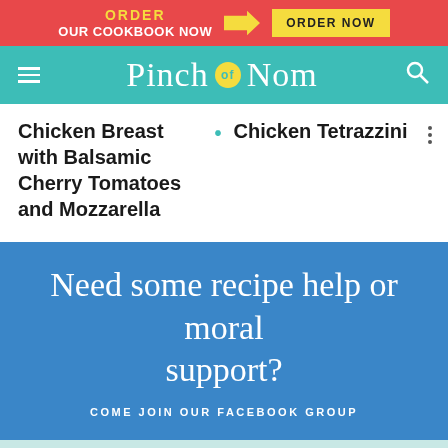ORDER OUR COOKBOOK NOW → ORDER NOW
Pinch of Nom
Chicken Breast with Balsamic Cherry Tomatoes and Mozzarella • Chicken Tetrazzini
Need some recipe help or moral support? COME JOIN OUR FACEBOOK GROUP
21 comments
SEE WHAT OTHERS HAVE TO SAY